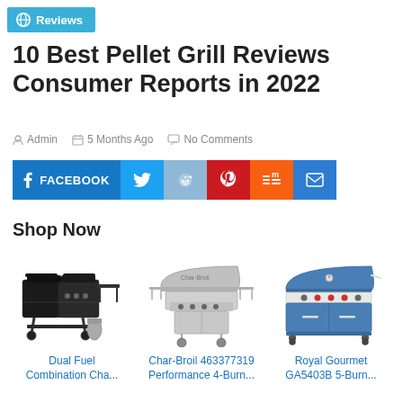Reviews
10 Best Pellet Grill Reviews Consumer Reports in 2022
Admin   5 Months Ago   No Comments
[Figure (other): Social share buttons: Facebook, Twitter, Reddit, Pinterest, Mix, Email]
Shop Now
[Figure (other): Dual Fuel Combination Charcoal/Gas grill product image]
Dual Fuel Combination Cha...
[Figure (other): Char-Broil 463377319 Performance 4-Burn... grill product image]
Char-Broil 463377319 Performance 4-Burn...
[Figure (other): Royal Gourmet GA5403B 5-Burn... grill product image]
Royal Gourmet GA5403B 5-Burn...